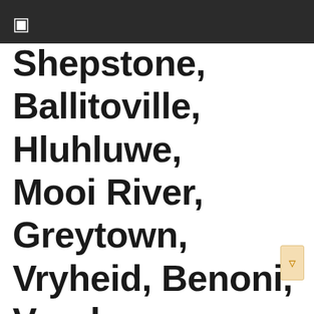☰
Shepstone, Ballitoville, Hluhluwe, Mooi River, Greytown, Vryheid, Benoni, Verulam, Hluhluwe North, Camperdown, Harding, Blouberg, Stanger, Adelaide, Blouberg, Nguthu...